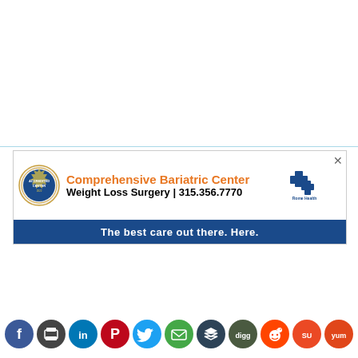[Figure (infographic): Advertisement banner for Rome Health Comprehensive Bariatric Center showing orange title text, accreditation seal, weight loss surgery phone number, blue tagline bar, and Rome Health logo with medical cross]
[Figure (infographic): Row of social media sharing icons: Facebook (blue), Print (dark grey), LinkedIn (blue), Pinterest (red), Twitter (cyan), Email/Mail (green), Buffer/Layers (dark teal), Digg (dark grey-green), Reddit (red), StumbleUpon (orange-red), Yummly (orange-red)]